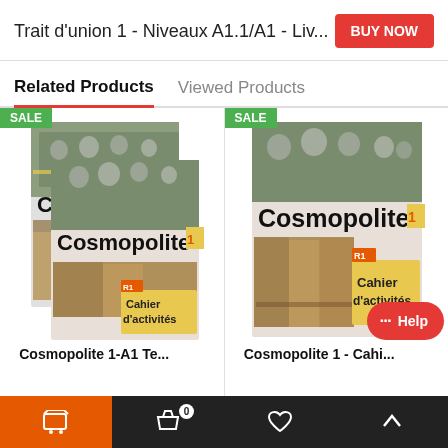Trait d'union 1 - Niveaux A1.1/A1 - Liv...
BUY NOW
Related Products
Viewed Products
[Figure (photo): Book cover: Cosmopolite 1-A1 Te... (two stacked Cosmopolite book covers with Cahier d'activités label, SALE badge)]
Cosmopolite 1-A1 Te...
[Figure (photo): Book cover: Cosmopolite 1 Cahier d'activités, single book cover shown, SALE badge, Help button overlay]
Cosmopolite 1 - Cahi...
Cart | 0 | Wishlist | Top